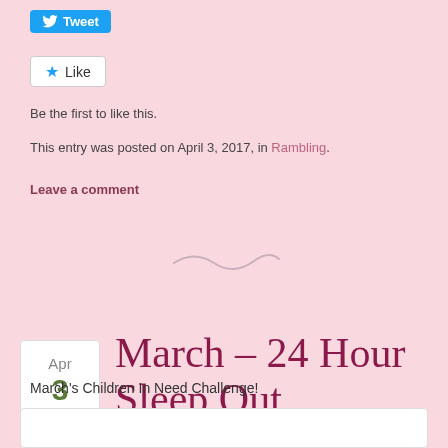[Figure (screenshot): Twitter Tweet button (blue rounded button with bird icon and 'Tweet' text)]
[Figure (screenshot): Facebook Like button (white box with blue star icon and 'Like' text)]
Be the first to like this.
This entry was posted on April 3, 2017, in Rambling.
Leave a comment
[Figure (illustration): Decorative swirl/flourish divider]
March – 24 Hour Sleep Out
March's Children In Need Challenge!